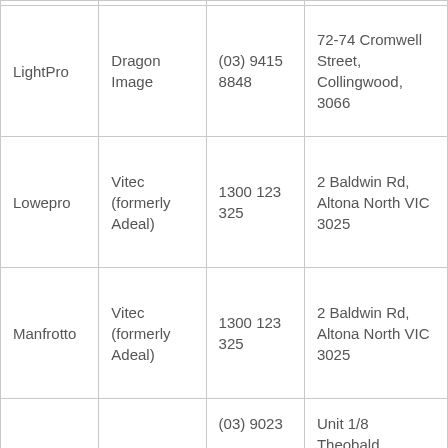| LightPro | Dragon Image | (03) 9415 8848 | 72-74 Cromwell Street, Collingwood, 3066 |
| Lowepro | Vitec (formerly Adeal) | 1300 123 325 | 2 Baldwin Rd, Altona North VIC 3025 |
| Manfrotto | Vitec (formerly Adeal) | 1300 123 325 | 2 Baldwin Rd, Altona North VIC 3025 |
|  |  | (03) 9023 | Unit 1/8 Theobald |